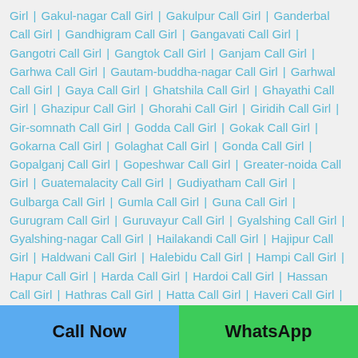Girl | Gakul-nagar Call Girl | Gakulpur Call Girl | Ganderbal Call Girl | Gandhigram Call Girl | Gangavati Call Girl | Gangotri Call Girl | Gangtok Call Girl | Ganjam Call Girl | Garhwa Call Girl | Gautam-buddha-nagar Call Girl | Garhwal Call Girl | Gaya Call Girl | Ghatshila Call Girl | Ghayathi Call Girl | Ghazipur Call Girl | Ghorahi Call Girl | Giridih Call Girl | Gir-somnath Call Girl | Godda Call Girl | Gokak Call Girl | Gokarna Call Girl | Golaghat Call Girl | Gonda Call Girl | Gopalganj Call Girl | Gopeshwar Call Girl | Greater-noida Call Girl | Guatemalacity Call Girl | Gudiyatham Call Girl | Gulbarga Call Girl | Gumla Call Girl | Guna Call Girl | Gurugram Call Girl | Guruvayur Call Girl | Gyalshing Call Girl | Gyalshing-nagar Call Girl | Hailakandi Call Girl | Hajipur Call Girl | Haldwani Call Girl | Halebidu Call Girl | Hampi Call Girl | Hapur Call Girl | Harda Call Girl | Hardoi Call Girl | Hassan Call Girl | Hathras Call Girl | Hatta Call Girl | Haveri Call Girl | Hetauda Call Girl | Hazaribagh Call Girl | Hinganghat Call Girl | Hisar Call Girl | Horsley Call Girl | Hoshangabad Call Girl | Hospet Call Girl | Hosur Call Girl | Howrah Call Girl | Hugli
Call Now | WhatsApp